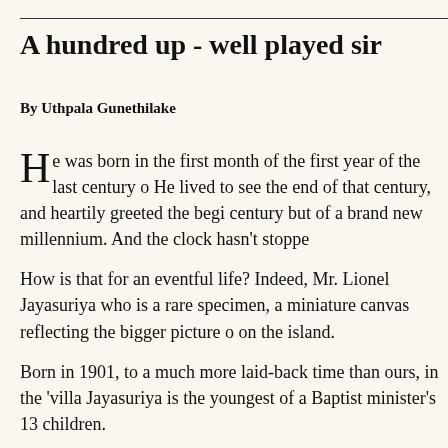A hundred up - well played sir
By Uthpala Gunethilake
He was born in the first month of the first year of the last century o... He lived to see the end of that century, and heartily greeted the begi... century but of a brand new millennium. And the clock hasn't stoppe...
How is that for an eventful life? Indeed, Mr. Lionel Jayasuriya who... is a rare specimen, a miniature canvas reflecting the bigger picture o... on the island.
Born in 1901, to a much more laid-back time than ours, in the 'villa... Jayasuriya is the youngest of a Baptist minister's 13 children.
"When my eldest sister married, I was too small even to be a pageboy. Now I'm the only surviving member of my family," he reminisces. The years have dulled his physical faculties -he is frail and unable to see and hear properly- but he suffers from no severe illnesses, and his memory, and spirit remain amazingly clear.
Having lived a full life, even at 100 he hasn't stopped earning titles;